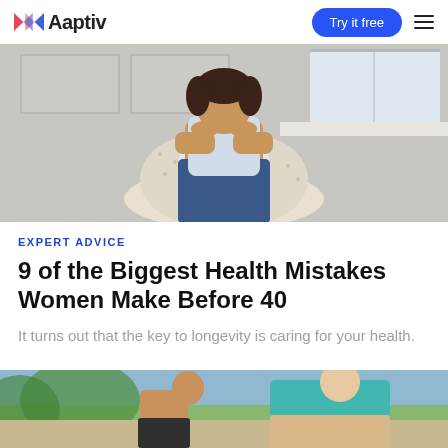Aaptiv — Try it free
[Figure (photo): Woman sitting in a wicker chair with her head resting on her hands, looking stressed or sad, in a kitchen setting]
EXPERT ADVICE
9 of the Biggest Health Mistakes Women Make Before 40
It turns out that the key to longevity is caring for your health.
[Figure (photo): Partial image of two women, one in a teal top, outdoors — cropped at bottom of page]